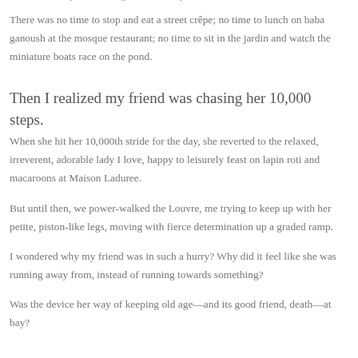But I found myself chasing at her brisk pace.
There was no time to stop and eat a street crêpe; no time to lunch on baba ganoush at the mosque restaurant; no time to sit in the jardin and watch the miniature boats race on the pond.
Then I realized my friend was chasing her 10,000 steps.
When she hit her 10,000th stride for the day, she reverted to the relaxed, irreverent, adorable lady I love, happy to leisurely feast on lapin roti and macaroons at Maison Laduree.
But until then, we power-walked the Louvre, me trying to keep up with her petite, piston-like legs, moving with fierce determination up a graded ramp.
I wondered why my friend was in such a hurry? Why did it feel like she was running away from, instead of running towards something?
Was the device her way of keeping old age—and its good friend, death—at bay?